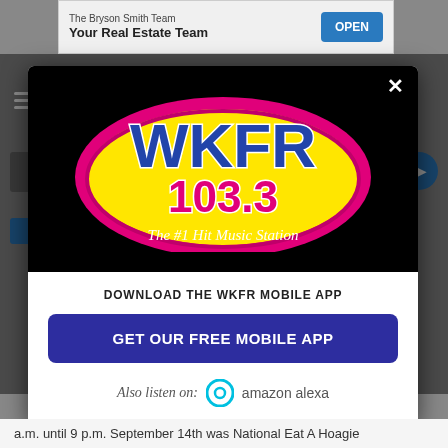[Figure (screenshot): WKFR 103.3 radio station mobile app download popup modal on a website. The modal shows the WKFR 103.3 'The #1 Hit Music Station' logo on a black background, with a white lower section containing 'DOWNLOAD THE WKFR MOBILE APP' text, a dark blue 'GET OUR FREE MOBILE APP' button, and 'Also listen on: amazon alexa' with the Alexa ring icon.]
a.m. until 9 p.m. September 14th was National Eat A Hoagie